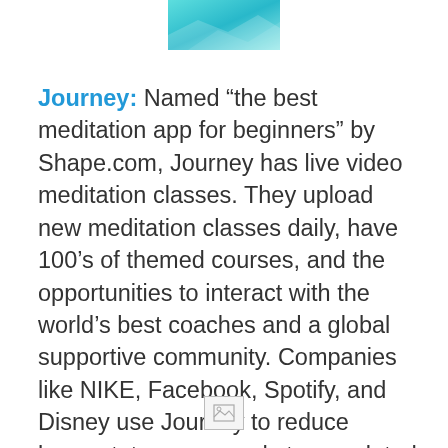[Figure (illustration): Partial teal/cyan decorative image at top center of page]
Journey: Named “the best meditation app for beginners” by Shape.com, Journey has live video meditation classes. They upload new meditation classes daily, have 100’s of themed courses, and the opportunities to interact with the world’s best coaches and a global supportive community. Companies like NIKE, Facebook, Spotify, and Disney use Journey to reduce burnout, turnover, and stress-related illness among their employees.
[Figure (illustration): Small broken/placeholder image icon at bottom center of page]